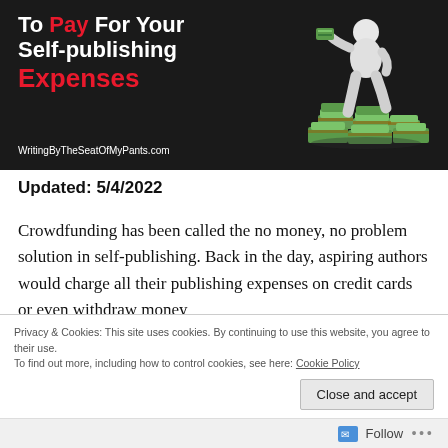[Figure (illustration): Banner image with dark background showing text 'To Pay For Your Self-publishing Expenses' with the words 'Pay' and 'Expenses' in red, alongside a white 3D figure standing on stacks of money, and the URL WritingByTheSeatOfMyPants.com at the bottom left]
Updated: 5/4/2022
Crowdfunding has been called the no money, no problem solution in self-publishing. Back in the day, aspiring authors would charge all their publishing expenses on credit cards or even withdraw money
Privacy & Cookies: This site uses cookies. By continuing to use this website, you agree to their use.
To find out more, including how to control cookies, see here: Cookie Policy
Close and accept
Follow